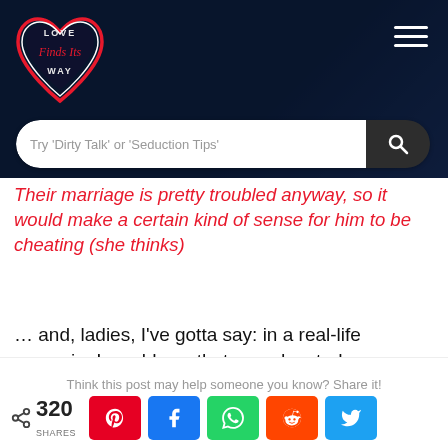[Figure (logo): Love Finds Its Way heart-shaped logo with script text]
Try 'Dirty Talk' or 'Seduction Tips'
Their marriage is pretty troubled anyway, so it would make a certain kind of sense for him to be cheating (she thinks)
… and, ladies, I've gotta say: in a real-life scenario, I would say that my educated guess would be that she is RIGHT.
These are all 'dead-giveaways' that a man is up
Think this post may help someone you know? Share it!
320 SHARES